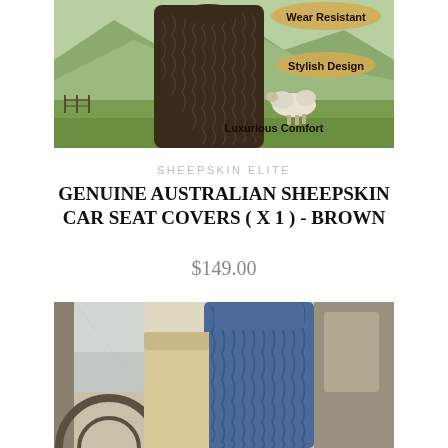[Figure (photo): Product image of brown sheepskin car seat covers displayed on a stand with outdoor background featuring mountains and sheep. Overlay labels: 'Wear Resistant', 'Stylish Design', 'Luxurious Comfort'.]
SHEEPSKIN ELITE
GENUINE AUSTRALIAN SHEEPSKIN CAR SEAT COVERS ( X 1 ) - BROWN
$149.00
[Figure (photo): Interior of a car showing blue sheepskin seat covers on the seat, viewed through the window. SOLD OUT banner overlay.]